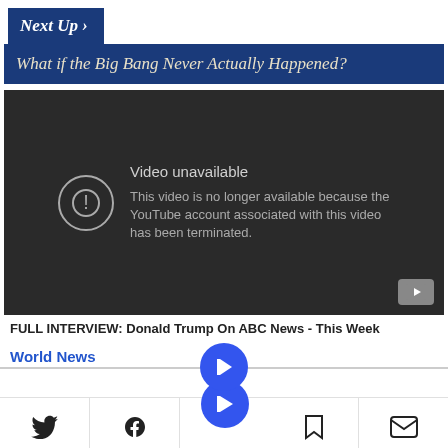Next Up >
What if the Big Bang Never Actually Happened?
[Figure (screenshot): YouTube video player showing 'Video unavailable' error: 'This video is no longer available because the YouTube account associated with this video has been terminated.']
FULL INTERVIEW: Donald Trump On ABC News - This Week
World News